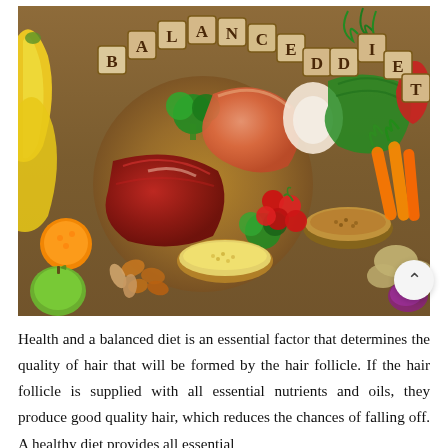[Figure (photo): A flat-lay photograph of various foods arranged on a wooden surface and circular wooden board, with letter blocks spelling 'BALANCED DIET'. Foods include bananas, salmon, broccoli, egg, spinach, red meat, cherry tomatoes, carrots, millet in bowls, buckwheat in a bowl, nuts, orange, green apple, red pepper, potatoes, and onion.]
Health and a balanced diet is an essential factor that determines the quality of hair that will be formed by the hair follicle. If the hair follicle is supplied with all essential nutrients and oils, they produce good quality hair, which reduces the chances of falling off. A healthy diet provides all essential